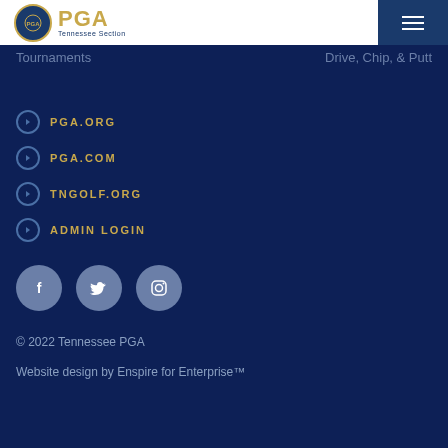[Figure (logo): PGA Tennessee Section logo with circular emblem and gold PGA text]
Tournaments
Drive, Chip, & Putt
PGA.ORG
PGA.COM
TNGOLF.ORG
ADMIN LOGIN
[Figure (illustration): Social media icons: Facebook, Twitter, Instagram]
© 2022 Tennessee PGA
Website design by Enspire for Enterprise™